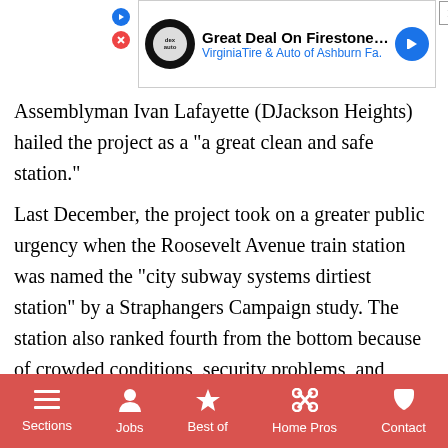[Figure (screenshot): Advertisement banner for Great Deal On Firestone Tires - VirginiaTire & Auto of Ashburn Fa.]
Assemblyman Ivan Lafayette (DJackson Heights) hailed the project as a "a great clean and safe station."
Last December, the project took on a greater public urgency when the Roosevelt Avenue train station was named the "city subway systems dirtiest station" by a Straphangers Campaign study. The station also ranked fourth from the bottom because of crowded conditions, security problems, and difficulty of movement.
The key contributor to these problems has been the citywide 28 percent mass transit ridership increase since the introduction of the MetroCard,
[Figure (screenshot): Mobile navigation bar with Sections, Jobs, Best of, Home Pros, Contact options on red background]